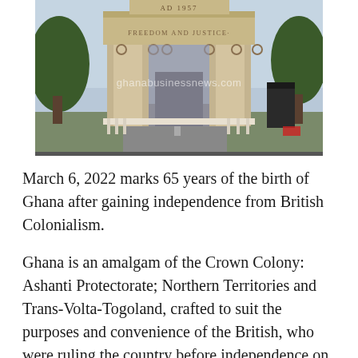[Figure (photo): Photograph of the Independence Arch (Black Star Gate) in Accra, Ghana. The arch is made of light stone/concrete, with the inscription 'AD 1957' at the top and 'FREEDOM AND JUSTICE' on the frieze. A watermark reading 'ghanabusinessnews.com' is visible across the image. Trees flank the structure, and a road passes through the arch.]
March 6, 2022 marks 65 years of the birth of Ghana after gaining independence from British Colonialism.
Ghana is an amalgam of the Crown Colony: Ashanti Protectorate; Northern Territories and Trans-Volta-Togoland, crafted to suit the purposes and convenience of the British, who were ruling the country before independence on 6th March